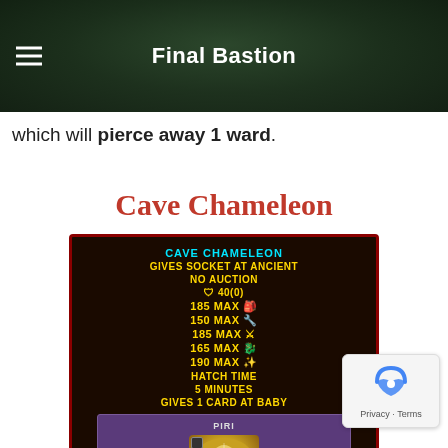Final Bastion
which will pierce away 1 ward.
Cave Chameleon
[Figure (screenshot): Game card tooltip for Cave Chameleon showing: GIVES SOCKET AT ANCIENT, NO AUCTION, 40(0), 185 MAX, 150 MAX, 185 MAX, 165 MAX, 190 MAX, HATCH TIME 5 MINUTES, GIVES 1 CARD AT BABY. Inside shows a card titled PIRI with 100% and Remove 1 positive text.]